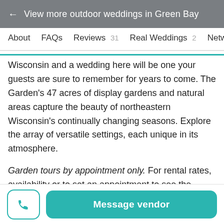← View more outdoor weddings in Green Bay
About   FAQs   Reviews 31   Real Weddings 2   Network
Wisconsin and a wedding here will be one your guests are sure to remember for years to come. The Garden's 47 acres of display gardens and natural areas capture the beauty of northeastern Wisconsin's continually changing seasons. Explore the array of versatile settings, each unique in its atmosphere.
Garden tours by appointment only. For rental rates, availability or to set an appointment to see the venues at the Garden, please complete the request form on our website at http://bit.ly/gbbgweddings_contactus.